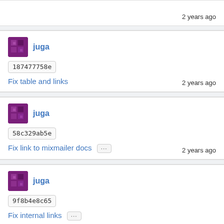2 years ago
juga
187477758e
Fix table and links
2 years ago
juga
58c329ab5e
Fix link to mixmailer docs ...
2 years ago
juga
9f8b4e8c65
Fix internal links ...